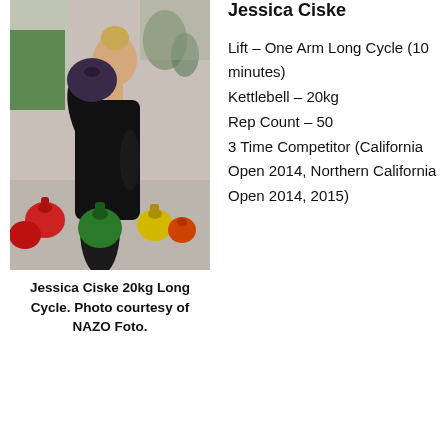[Figure (photo): Photo of Jessica Ciske performing a kettlebell long cycle lift in a competition setting, holding a kettlebell above her shoulder. Colorful kettlebells visible in the background.]
Jessica Ciske 20kg Long Cycle. Photo courtesy of NAZO Foto.
Jessica Ciske
Lift – One Arm Long Cycle (10 minutes)
Kettlebell – 20kg
Rep Count – 50
3 Time Competitor (California Open 2014, Northern California Open 2014, 2015)